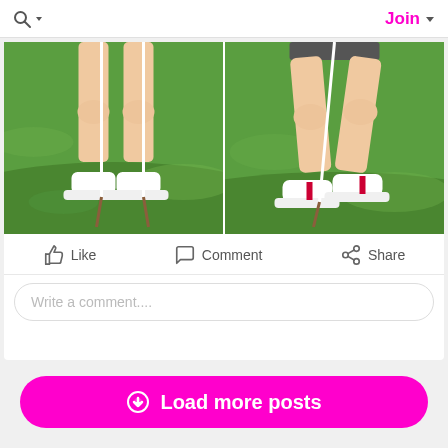Search  Join
[Figure (photo): Two side-by-side photos of a person's legs wearing white sneakers on green grass, holding golf clubs or walking poles]
Like   Comment   Share
Write a comment....
Load more posts